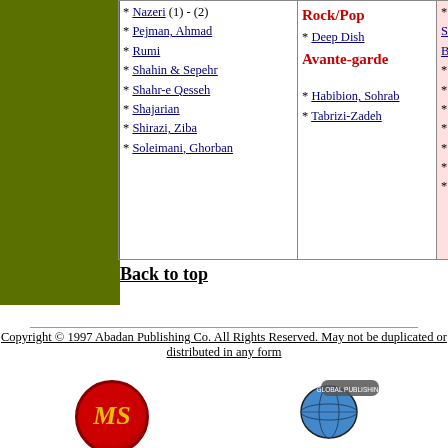[Figure (illustration): Green colored rectangular sidebar on left]
| Classical/Traditional | Rock/Pop / Avante-garde | (partial, clipped) |
| --- | --- | --- |
| * Nazeri (1) - (2), * Pejman, Ahmad, * Rumi, * Shahin & Sepehr, * Shahr-e Qesseh, * Shajarian, * Shirazi, Ziba, * Soleimani, Ghorban | Rock/Pop
* Deep Dish
Avante-garde
* Habibion, Sohrab
* Tabrizi-Zadeh | * Sima Bina
(clipped) |
Back to top
Copyright © 1997 Abadan Publishing Co. All Rights Reserved. May not be duplicated or distributed in any form
[Figure (logo): MS logo - red circle with gold MS letters]
Web Site Design by
[Figure (logo): Global Publishing Group globe logo]
Internet server by